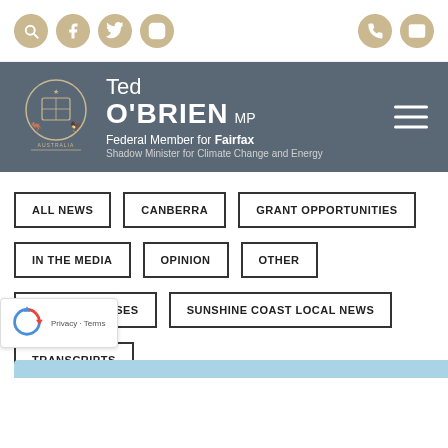[Figure (screenshot): Top navigation bar with social media icons (search, Facebook, Twitter, Instagram) on the left and phone/email icons on the right, all in tan/gold circular buttons]
[Figure (logo): Ted O'Brien MP - Federal Member for Fairfax, Shadow Minister for Climate Change and Energy. Australian coat of arms logo on grey banner background with hamburger menu icon]
ALL NEWS
CANBERRA
GRANT OPPORTUNITIES
IN THE MEDIA
OPINION
OTHER
PRESS RELEASES
SUNSHINE COAST LOCAL NEWS
TRANSCRIPTS